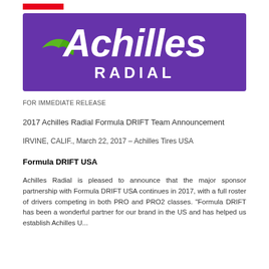[Figure (logo): Achilles Radial logo — white stylized text on purple background with green wing/chevron element]
FOR IMMEDIATE RELEASE
2017 Achilles Radial Formula DRIFT Team Announcement
IRVINE, CALIF., March 22, 2017 – Achilles Tires USA
Formula DRIFT USA
Achilles Radial is pleased to announce that the major sponsor partnership with Formula DRIFT USA continues in 2017, with a full roster of drivers competing in both PRO and PRO2 classes. "Formula DRIFT has been a wonderful partner for our brand in the US and has helped us establish Achilles Under P...